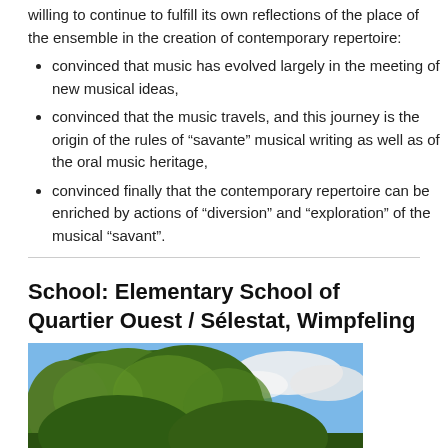willing to continue to fulfill its own reflections of the place of the ensemble in the creation of contemporary repertoire:
convinced that music has evolved largely in the meeting of new musical ideas,
convinced that the music travels, and this journey is the origin of the rules of “savante” musical writing as well as of the oral music heritage,
convinced finally that the contemporary repertoire can be enriched by actions of “diversion” and “exploration” of the musical “savant”.
School: Elementary School of Quartier Ouest / Sélestat, Wimpfeling
[Figure (photo): Outdoor photo showing large green trees with leafy canopy against a partly cloudy blue sky]